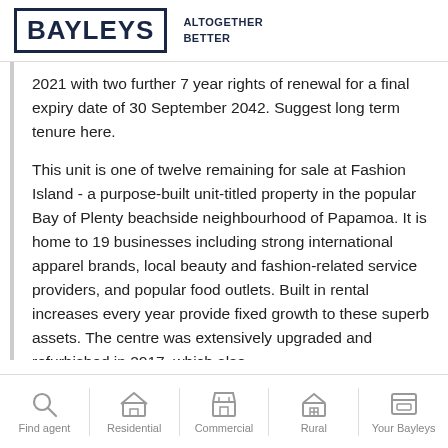BAYLEYS ALTOGETHER BETTER
2021 with two further 7 year rights of renewal for a final expiry date of 30 September 2042. Suggest long term tenure here.
This unit is one of twelve remaining for sale at Fashion Island - a purpose-built unit-titled property in the popular Bay of Plenty beachside neighbourhood of Papamoa. It is home to 19 businesses including strong international apparel brands, local beauty and fashion-related service providers, and popular food outlets. Built in rental increases every year provide fixed growth to these superb assets. The centre was extensively upgraded and refurbished in 2017, which also
Find agent | Residential | Commercial | Rural | Your Bayleys